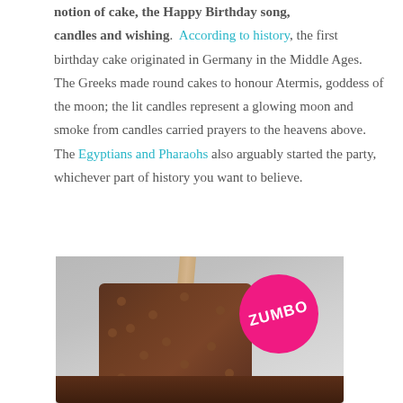notion of cake, the Happy Birthday song, candles and wishing. According to history, the first birthday cake originated in Germany in the Middle Ages. The Greeks made round cakes to honour Atermis, goddess of the moon; the lit candles represent a glowing moon and smoke from candles carried prayers to the heavens above. The Egyptians and Pharaohs also arguably started the party, whichever part of history you want to believe.
[Figure (photo): A chocolate-covered ice cream or cake pop on a stick with the pink Zumbo branded circle badge visible. The chocolate treat appears dark brown with bumpy texture and there is a wooden stick inserted at top.]